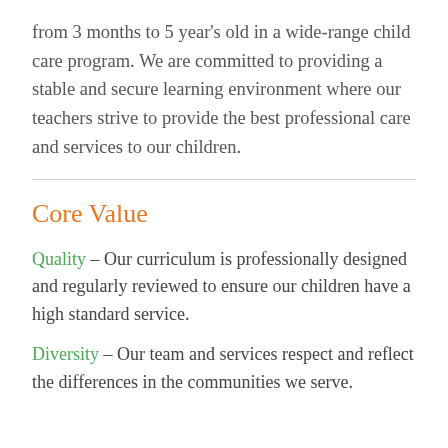from 3 months to 5 year's old in a wide-range child care program. We are committed to providing a stable and secure learning environment where our teachers strive to provide the best professional care and services to our children.
Core Value
Quality – Our curriculum is professionally designed and regularly reviewed to ensure our children have a high standard service.
Diversity – Our team and services respect and reflect the differences in the communities we serve.